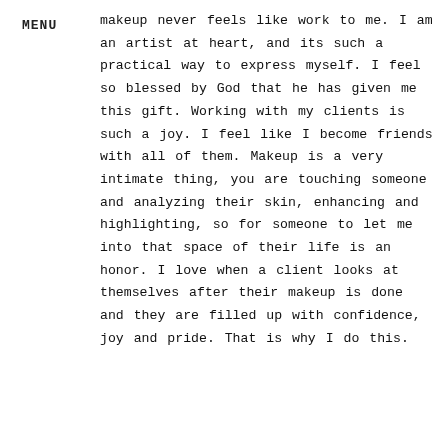MENU
makeup never feels like work to me. I am an artist at heart, and its such a practical way to express myself. I feel so blessed by God that he has given me this gift. Working with my clients is such a joy. I feel like I become friends with all of them. Makeup is a very intimate thing, you are touching someone and analyzing their skin, enhancing and highlighting, so for someone to let me into that space of their life is an honor. I love when a client looks at themselves after their makeup is done and they are filled up with confidence, joy and pride. That is why I do this.